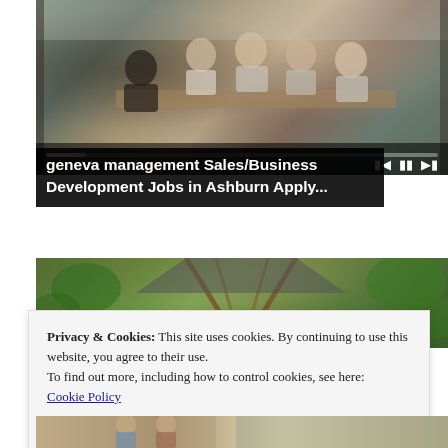[Figure (photo): Meeting room scene with several people seated around a table, with a video player progress bar and playback controls (rewind, pause, fast-forward) overlaid at the bottom]
geneva management Sales/Business Development Jobs in Ashburn Apply...
[Figure (photo): Outdoor greenhouse or garden structure with wooden frame and green foliage in the background]
Privacy & Cookies: This site uses cookies. By continuing to use this website, you agree to their use.
To find out more, including how to control cookies, see here:
Cookie Policy
Close and accept
[Figure (photo): Partial view of another image at the bottom of the page]